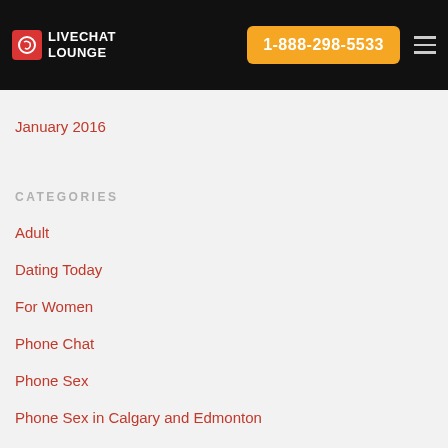LIVECHAT LOUNGE | 1-888-298-5533
January 2016
CATEGORIES
Adult
Dating Today
For Women
Phone Chat
Phone Sex
Phone Sex in Calgary and Edmonton
Sex Talk
Single Life